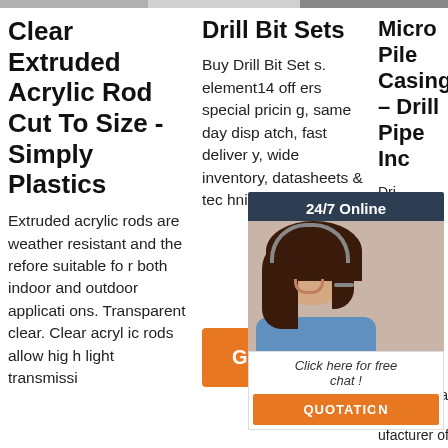[Figure (photo): Top image strip showing three partial images of products/scenes]
Clear Extruded Acrylic Rod Cut To Size - Simply Plastics
Extruded acrylic rods are weather resistant and therefore suitable for both indoor and outdoor applications. Transparent clear. Clear acrylic rods allow high light transmissi
Drill Bit Sets
Buy Drill Bit Sets. element14 offers special pricing, same day dispatch, fast delivery, wide inventory, datasheets & technical support.
[Figure (other): Orange Get Price button]
Micro Pile Casing – Drill Pipe Inc
Dri Su Drill Pl) western olisn W esources international manufacturer of quality drill tools. With over 60 years of experience. Drill
[Figure (photo): 24/7 online chat widget overlay with woman wearing headset, Click here for free chat text, and QUOTATION button]